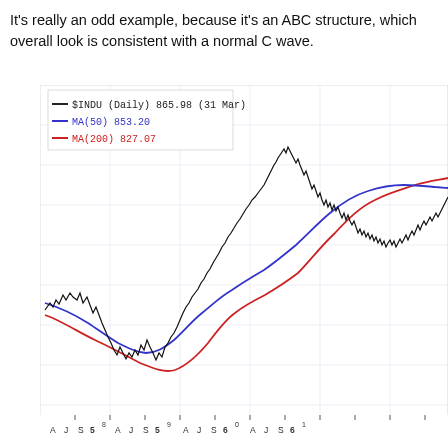It's really an odd example, because it's an ABC structure, which overall look is consistent with a normal C wave.
[Figure (continuous-plot): Stock chart showing $INDU (Daily) price at 865.98 on 31 Mar, with MA(50) at 853.20 (blue line) and MA(200) at 827.07 (red line). The chart shows a pattern starting with a small peak, a decline to a trough, then a strong rally to a peak, followed by a partial pullback and renewed uptrend. The price line is black/red (candlestick/bar style), the 50-day MA is blue, and the 200-day MA is red.]